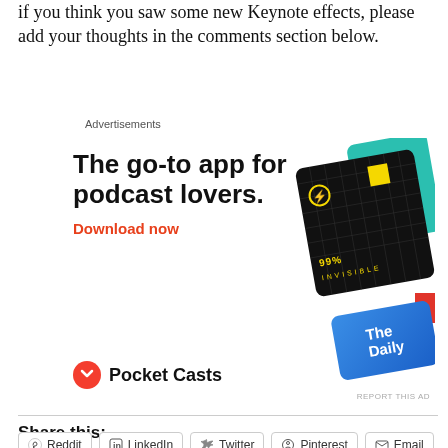if you think you saw some new Keynote effects, please add your thoughts in the comments section below.
Advertisements
[Figure (illustration): Pocket Casts advertisement showing 'The go-to app for podcast lovers.' with Download now CTA and app icon mockups including 99% Invisible, a teal card, and The Daily blue card. Pocket Casts logo and brand name shown at bottom.]
Share this:
Reddit
LinkedIn
Twitter
Pinterest
Email